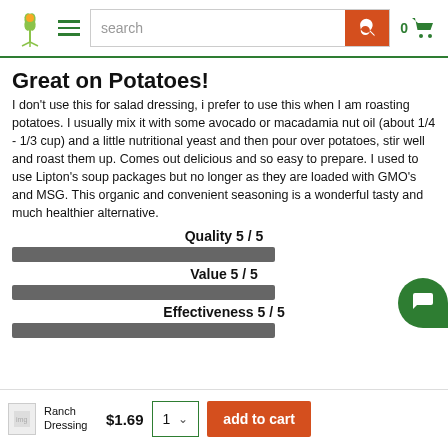Navigation header with logo, hamburger menu, search bar, and cart
Great on Potatoes!
I don't use this for salad dressing, i prefer to use this when I am roasting potatoes. I usually mix it with some avocado or macadamia nut oil (about 1/4 - 1/3 cup) and a little nutritional yeast and then pour over potatoes, stir well and roast them up. Comes out delicious and so easy to prepare. I used to use Lipton's soup packages but no longer as they are loaded with GMO's and MSG. This organic and convenient seasoning is a wonderful tasty and much healthier alternative.
[Figure (infographic): Quality rating bar: Quality 5/5 with a filled progress bar]
[Figure (infographic): Value rating bar: Value 5/5 with a filled progress bar]
[Figure (infographic): Effectiveness rating bar: Effectiveness 5/5 with a filled progress bar]
Ranch Dressing  $1.69  1  add to cart